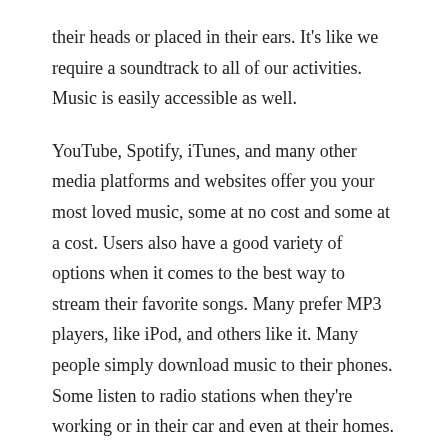their heads or placed in their ears. It's like we require a soundtrack to all of our activities. Music is easily accessible as well.
YouTube, Spotify, iTunes, and many other media platforms and websites offer you your most loved music, some at no cost and some at a cost. Users also have a good variety of options when it comes to the best way to stream their favorite songs. Many prefer MP3 players, like iPod, and others like it. Many people simply download music to their phones. Some listen to radio stations when they're working or in their car and even at their homes. Record companies are making an appearance too, with each new release coming out on iTunes CD and vinyl simultaneously.
It might appear like something from a movie however music actually makes life better. Even the most boring and routine tasks